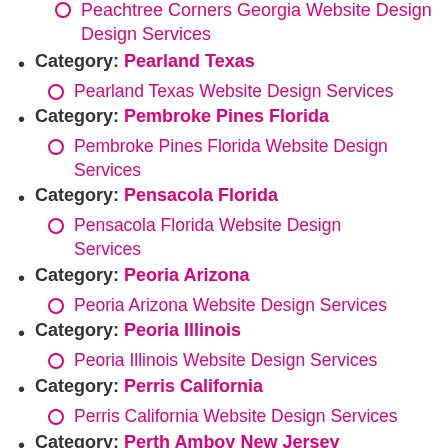Peachtree Corners Georgia Website Design Services
Category: Pearland Texas
Pearland Texas Website Design Services
Category: Pembroke Pines Florida
Pembroke Pines Florida Website Design Services
Category: Pensacola Florida
Pensacola Florida Website Design Services
Category: Peoria Arizona
Peoria Arizona Website Design Services
Category: Peoria Illinois
Peoria Illinois Website Design Services
Category: Perris California
Perris California Website Design Services
Category: Perth Amboy New Jersey
Perth Amboy New Jersey Website Design Services